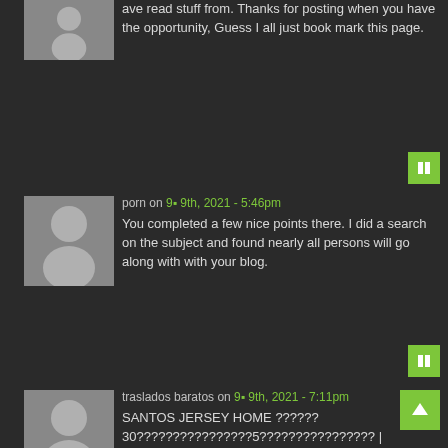ave read stuff from. Thanks for posting when you have the opportunity, Guess I all just book mark this page.
[Figure (other): User avatar silhouette icon - gray square with person silhouette]
[Figure (other): Green reply button with square icon]
porn on 9⬛ 9th, 2021 - 5:46pm
[Figure (other): User avatar silhouette icon - gray square with person silhouette]
You completed a few nice points there. I did a search on the subject and found nearly all persons will go along with with your blog.
[Figure (other): Green reply button with square icon]
traslados baratos on 9⬛ 9th, 2021 - 7:11pm
[Figure (other): User avatar silhouette icon - gray square with person silhouette]
[Figure (other): Green scroll-to-top button with up arrow]
SANTOS JERSEY HOME ?????? 30????????????????5???????????????? | ????????